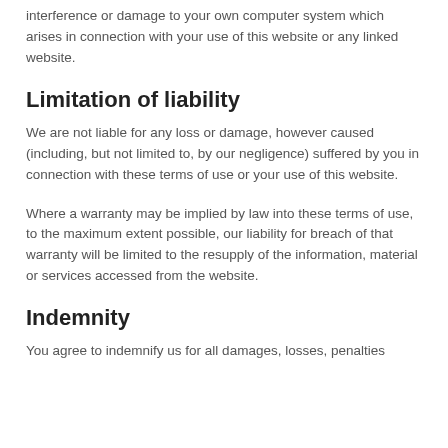interference or damage to your own computer system which arises in connection with your use of this website or any linked website.
Limitation of liability
We are not liable for any loss or damage, however caused (including, but not limited to, by our negligence) suffered by you in connection with these terms of use or your use of this website.
Where a warranty may be implied by law into these terms of use, to the maximum extent possible, our liability for breach of that warranty will be limited to the resupply of the information, material or services accessed from the website.
Indemnity
You agree to indemnify us for all damages, losses, penalties